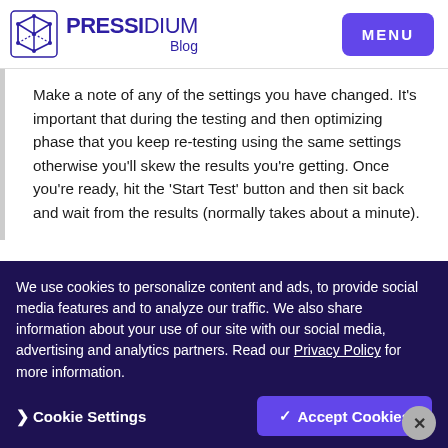PRESSIDIUM Blog — MENU
Make a note of any of the settings you have changed. It's important that during the testing and then optimizing phase that you keep re-testing using the same settings otherwise you'll skew the results you're getting. Once you're ready, hit the 'Start Test' button and then sit back and wait from the results (normally takes about a minute).
We use cookies to personalize content and ads, to provide social media features and to analyze our traffic. We also share information about your use of our site with our social media, advertising and analytics partners. Read our Privacy Policy for more information.
❯ Cookie Settings    ✓ Accept Cookies